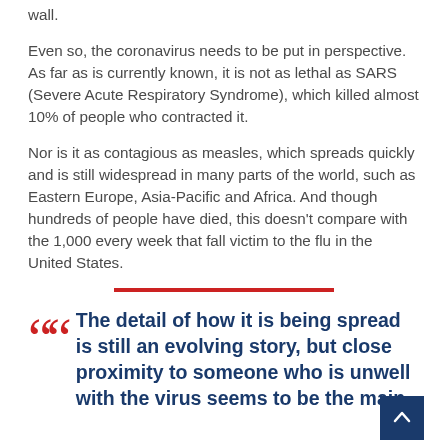wall.
Even so, the coronavirus needs to be put in perspective. As far as is currently known, it is not as lethal as SARS (Severe Acute Respiratory Syndrome), which killed almost 10% of people who contracted it.
Nor is it as contagious as measles, which spreads quickly and is still widespread in many parts of the world, such as Eastern Europe, Asia-Pacific and Africa. And though hundreds of people have died, this doesn't compare with the 1,000 every week that fall victim to the flu in the United States.
The detail of how it is being spread is still an evolving story, but close proximity to someone who is unwell with the virus seems to be the main